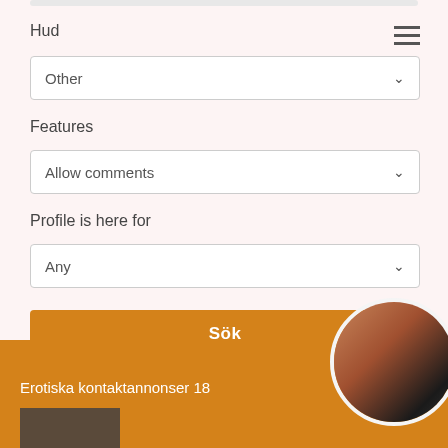Hud
Other
Features
Allow comments
Profile is here for
Any
Sök
Erotiska kontaktannonser 18
[Figure (photo): Screenshot of a mobile web form with dropdown fields for Hud (Other), Features (Allow comments), Profile is here for (Any), a Sök search button, and a partial orange banner at the bottom showing adult content advertisement.]